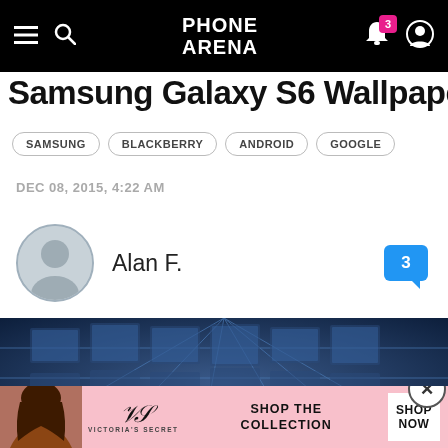PHONE ARENA
Samsung Galaxy S6 Wallpaper (partially visible/cropped)
SAMSUNG
BLACKBERRY
ANDROID
GOOGLE
DEC 08, 2015, 4:22 AM
Alan F.
[Figure (photo): Blue abstract geometric background photo used as hero image]
[Figure (photo): Victoria's Secret advertisement banner with model, logo, SHOP THE COLLECTION text, and SHOP NOW button]